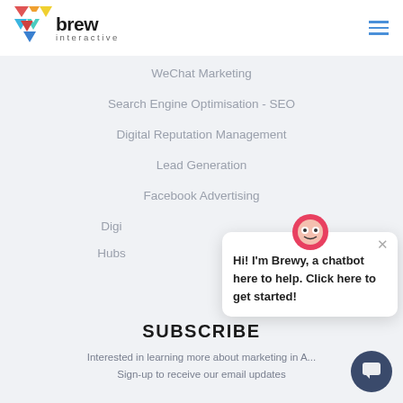[Figure (logo): Brew Interactive logo with colorful triangular icon and text 'brew interactive']
WeChat Marketing
Search Engine Optimisation - SEO
Digital Reputation Management
Lead Generation
Facebook Advertising
Digi...
Hubs...
SUBSCRIBE
Interested in learning more about marketing in A... Sign-up to receive our email updates
[Figure (illustration): Brewy chatbot popup with avatar saying 'Hi! I'm Brewy, a chatbot here to help. Click here to get started!']